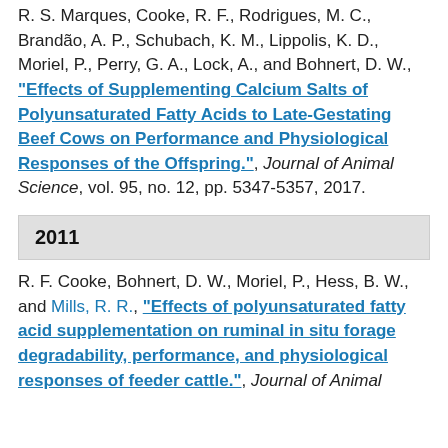R. S. Marques, Cooke, R. F., Rodrigues, M. C., Brandão, A. P., Schubach, K. M., Lippolis, K. D., Moriel, P., Perry, G. A., Lock, A., and Bohnert, D. W., "Effects of Supplementing Calcium Salts of Polyunsaturated Fatty Acids to Late-Gestating Beef Cows on Performance and Physiological Responses of the Offspring.", Journal of Animal Science, vol. 95, no. 12, pp. 5347-5357, 2017.
2011
R. F. Cooke, Bohnert, D. W., Moriel, P., Hess, B. W., and Mills, R. R., "Effects of polyunsaturated fatty acid supplementation on ruminal in situ forage degradability, performance, and physiological responses of feeder cattle.", Journal of Animal